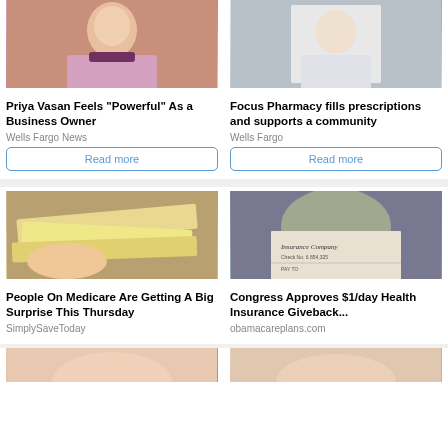[Figure (photo): Young woman smiling and holding a jewelry box]
[Figure (photo): Pharmacist in white coat standing in pharmacy]
Priya Vasan Feels “Powerful” As a Business Owner
Focus Pharmacy fills prescriptions and supports a community
Wells Fargo News
Wells Fargo
Read more
Read more
[Figure (photo): Hands holding stack of checks and envelopes]
[Figure (photo): Man holding insurance company check up to face]
People On Medicare Are Getting A Big Surprise This Thursday
Congress Approves $1/day Health Insurance Giveback...
SimplySaveToday
obamacareplans.com
[Figure (photo): Partial photo of person, cropped at bottom]
[Figure (photo): Partial photo of person, cropped at bottom]